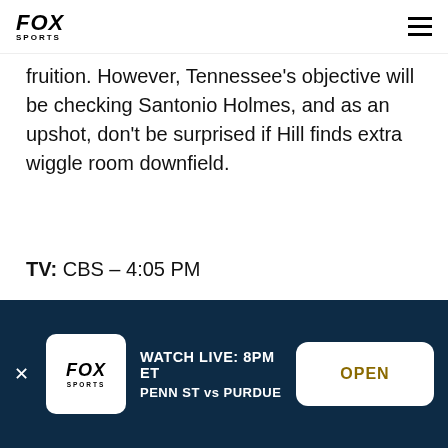FOX SPORTS
fruition. However, Tennessee's objective will be checking Santonio Holmes, and as an upshot, don't be surprised if Hill finds extra wiggle room downfield.
TV: CBS – 4:05 PM
The Jets win if: Powell submits a laudable outing; Locker's careless with the pigskin.
WATCH LIVE: 8PM ET PENN ST vs PURDUE OPEN